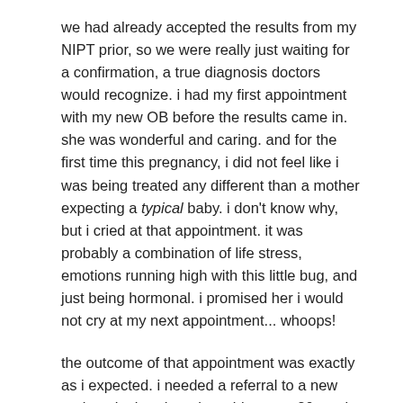we had already accepted the results from my NIPT prior, so we were really just waiting for a confirmation, a true diagnosis doctors would recognize. i had my first appointment with my new OB before the results came in. she was wonderful and caring. and for the first time this pregnancy, i did not feel like i was being treated any different than a mother expecting a typical baby. i don't know why, but i cried at that appointment. it was probably a combination of life stress, emotions running high with this little bug, and just being hormonal. i promised her i would not cry at my next appointment... whoops!
the outcome of that appointment was exactly as i expected. i needed a referral to a new perinatologist where i would get my 20 week anatomy scan done to check on the health of little bug and continue to monitor the “abnormalities” found at previous scans.